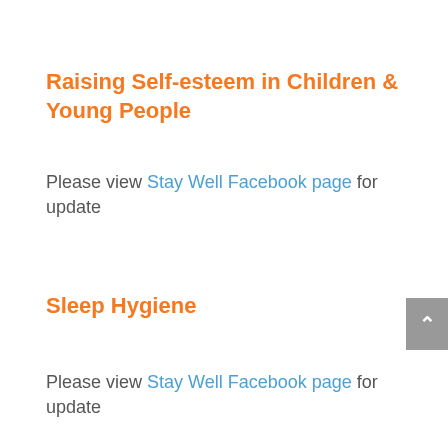Raising Self-esteem in Children & Young People
Please view Stay Well Facebook page for update
Sleep Hygiene
Please view Stay Well Facebook page for update